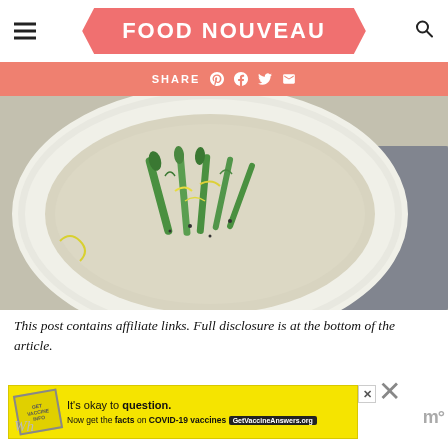FOOD NOUVEAU
SHARE
[Figure (photo): Overhead view of a white bowl containing creamy risotto topped with green asparagus, lemon zest, and herbs, on a grey concrete surface with a grey cloth napkin to the side.]
This post contains affiliate links. Full disclosure is at the bottom of the article.
[Figure (screenshot): Yellow advertisement banner: It's okay to question. Now get the facts on COVID-19 vaccines. GetVaccineAnswers.org]
Wh...